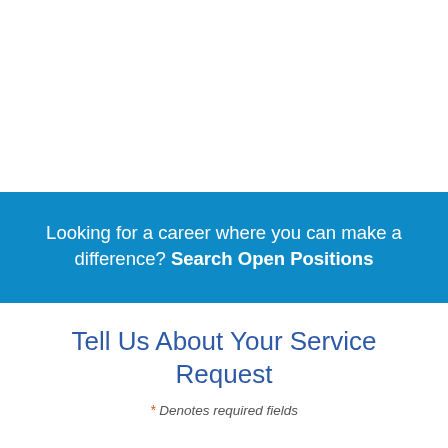Looking for a career where you can make a difference? Search Open Positions
Tell Us About Your Service Request
* Denotes required fields